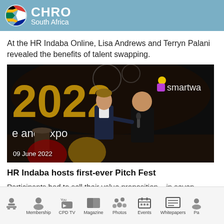CHRO South Africa
At the HR Indaba Online, Lisa Andrews and Terryn Palani revealed the benefits of talent swapping.
[Figure (photo): Two men on a dark conference stage in front of a backdrop showing '2022' and 'e and Expo' text with 'smartwa' branding visible, one holding a microphone. Date overlay reads '09 June 2022'.]
HR Indaba hosts first-ever Pitch Fest
Participants had to sell their value proposition – in seven
Home | Membership | CPD TV | Magazine | Photos | Events | Whitepapers | Pa